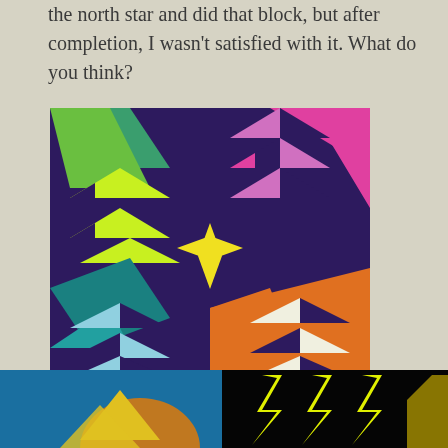the north star and did that block, but after completion, I wasn't satisfied with it. What do you think?
[Figure (photo): A quilt block with a purple background featuring colorful geometric triangle and star patterns in neon yellow-green, pink, teal, light blue, orange, and white arranged in four quadrants. Caption reads 'Sailing around the north star'.]
So back to the EQ7 drawing board!  Here are some ideas I came up with.
[Figure (photo): Two partial quilt design images at the bottom: left shows a blue background with gold/orange triangle shapes, right shows a black background with neon yellow lightning bolt shapes.]